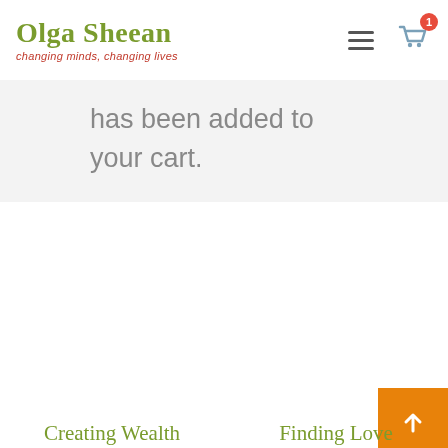Olga Sheean — changing minds, changing lives
has been added to your cart.
Creating Wealth
Finding Love